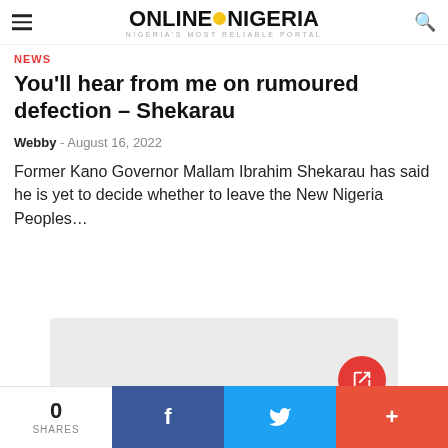ONLINE NIGERIA — Nigeria's Most Reliable Portal
NEWS
You'll hear from me on rumoured defection – Shekarau
Webby - August 16, 2022
Former Kano Governor Mallam Ibrahim Shekarau has said he is yet to decide whether to leave the New Nigeria Peoples...
[Figure (other): Light grey image placeholder area with a red circular expand/external-link button in the top-right corner]
0 SHARES | Facebook share | Twitter share | More share options